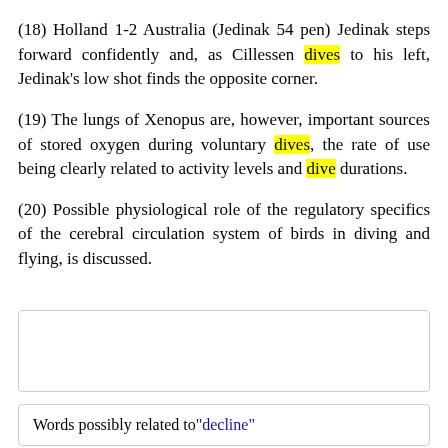(18) Holland 1-2 Australia (Jedinak 54 pen) Jedinak steps forward confidently and, as Cillessen dives to his left, Jedinak's low shot finds the opposite corner.
(19) The lungs of Xenopus are, however, important sources of stored oxygen during voluntary dives, the rate of use being clearly related to activity levels and dive durations.
(20) Possible physiological role of the regulatory specifics of the cerebral circulation system of birds in diving and flying, is discussed.
Words possibly related to "decline"